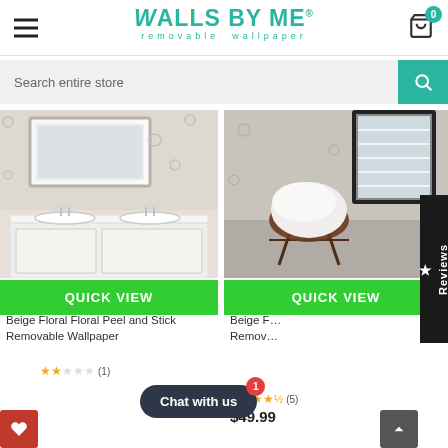Walls By Me - removable wallpaper
Search entire store
[Figure (photo): Bathroom with beige floral removable wallpaper, white double sink vanity and framed mirror]
[Figure (photo): Room corner with beige floral wallpaper, leather butterfly chair with white fur throw]
QUICK VIEW
QUICK VIEW
Beige Floral Floral Peel and Stick Removable Wallpaper
Beige Floral … Removable Wallpaper
(1)
★★★★½ (5)
$49.99
Chat with us
Reviews